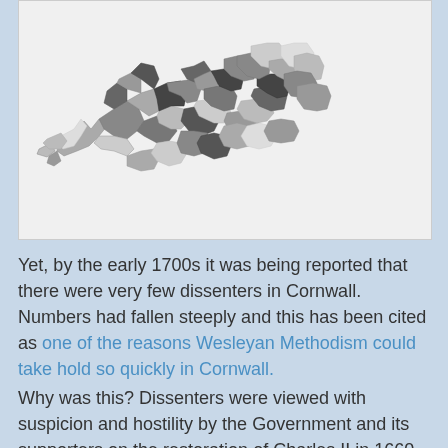[Figure (map): A choropleth map of Cornwall and surrounding area showing regions shaded in varying tones of gray and dark gray, representing dissenter distribution or similar data. The map shows the distinctive peninsula shape of Cornwall with numerous sub-regions outlined.]
Yet, by the early 1700s it was being reported that there were very few dissenters in Cornwall. Numbers had fallen steeply and this has been cited as one of the reasons Wesleyan Methodism could take hold so quickly in Cornwall.
Why was this? Dissenters were viewed with suspicion and hostility by the Government and its supporters on the restoration of Charles II in 1660 and as threats to the newly re-established order. Legislation was passed in the 1660s and 1670s excluding dissenters from positions of authority